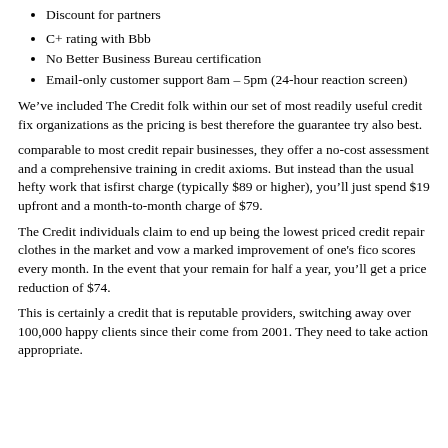Discount for partners
C+ rating with Bbb
No Better Business Bureau certification
Email-only customer support 8am – 5pm (24-hour reaction screen)
We’ve included The Credit folk within our set of most readily useful credit fix organizations as the pricing is best therefore the guarantee try also best.
comparable to most credit repair businesses, they offer a no-cost assessment and a comprehensive training in credit axioms. But instead than the usual hefty work that is​first charge (typically $89 or higher), you’ll just spend $19 upfront and a month-to-month charge of $79.
The Credit individuals claim to end up being the lowest priced credit repair clothes in the market and vow a marked improvement of one’s fico scores every month. In the event that your remain for half a year, you’ll get a price reduction of $74.
This is certainly a credit that is reputable providers, switching away over 100,000 happy clients since their come from 2001. They need to take action appropriate.